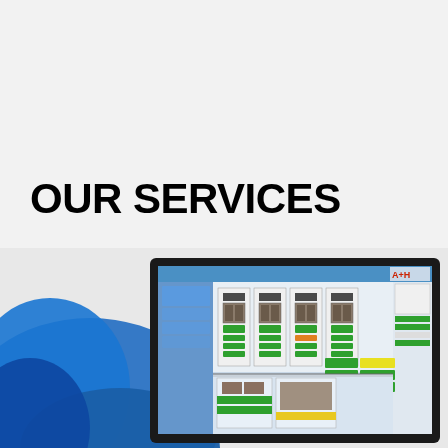OUR SERVICES
[Figure (photo): Person in blue clothing viewing a monitor displaying an industrial SCADA/HMI software interface with switchgear diagrams and status indicators. The monitor shows an AHN-branded engineering software application with multiple panel layouts, green and yellow status blocks, and schematic diagrams.]